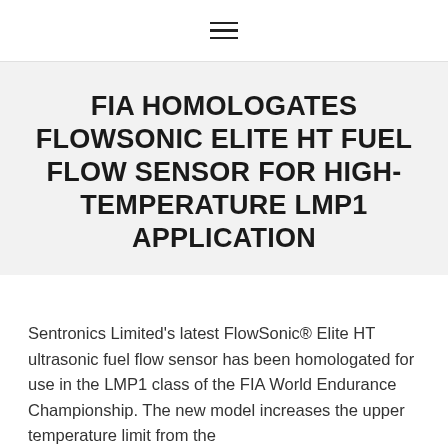≡
FIA HOMOLOGATES FLOWSONIC ELITE HT FUEL FLOW SENSOR FOR HIGH-TEMPERATURE LMP1 APPLICATION
Sentronics Limited's latest FlowSonic® Elite HT ultrasonic fuel flow sensor has been homologated for use in the LMP1 class of the FIA World Endurance Championship. The new model increases the upper temperature limit from the